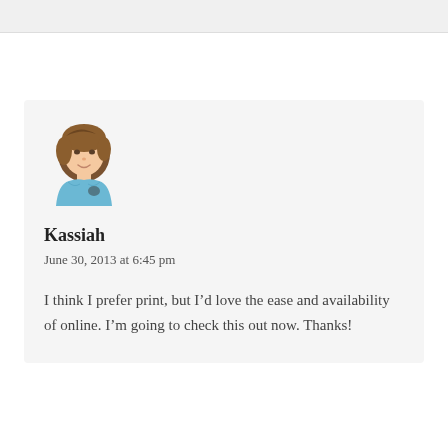[Figure (illustration): Avatar image of a woman with brown hair wearing a blue top]
Kassiah
June 30, 2013 at 6:45 pm
I think I prefer print, but I’d love the ease and availability of online. I’m going to check this out now. Thanks!